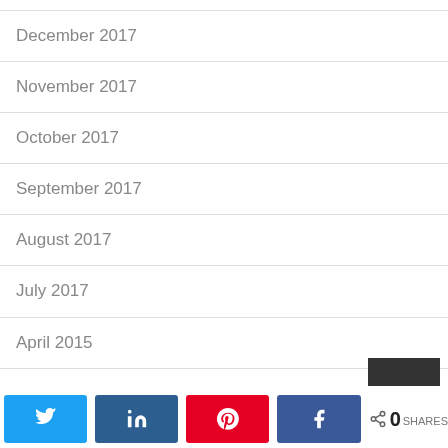December 2017
November 2017
October 2017
September 2017
August 2017
July 2017
April 2015
Share buttons: Twitter, LinkedIn, Pinterest, Facebook | 0 SHARES